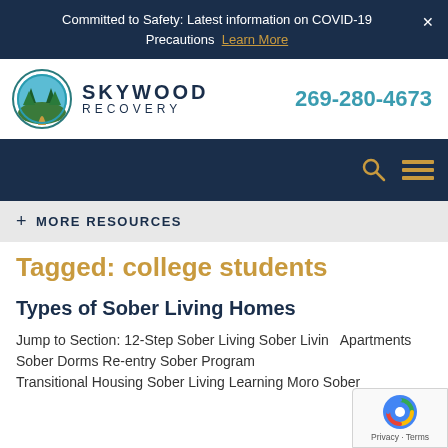Committed to Safety: Latest information on COVID-19 Precautions  Learn More
[Figure (logo): Skywood Recovery logo: circular emblem with trees and landscape in teal/blue tones, beside text SKYWOOD RECOVERY]
269-280-4673
[Figure (other): Navigation bar with search icon and hamburger menu icon on dark navy background]
+ MORE RESOURCES
Tagged: college students
Types of Sober Living Homes
Jump to Section: 12-Step Sober Living Sober Living Apartments Sober Dorms Re-entry Sober Programs Transitional Housing Sober Living Learning More Sober